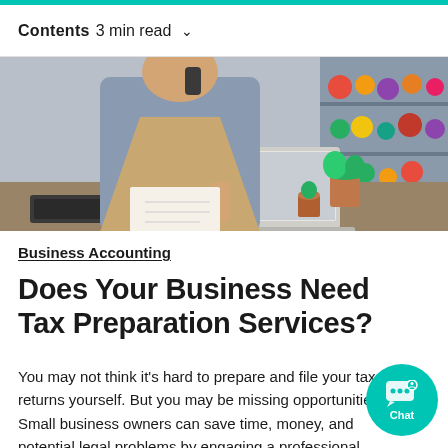Contents  3 min read  ∨
[Figure (photo): A person wearing a beige apron and grey long-sleeve shirt standing at a desk in a plant/flower shop, writing in a notebook while looking at a laptop. Colorful plants and shelves visible in the background.]
Business Accounting
Does Your Business Need Tax Preparation Services?
You may not think it's hard to prepare and file your tax returns yourself. But you may be missing opportunities. Small business owners can save time, money, and potential legal problems by engaging a professional